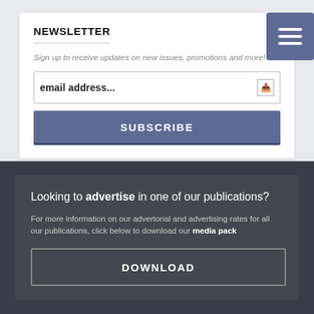NEWSLETTER
Sign up to receive updates on new issues, promotions and more!
email address...
SUBSCRIBE
Looking to advertise in one of our publications?
For more information on our advertorial and advertising rates for all our publications, click below to download our media pack
DOWNLOAD